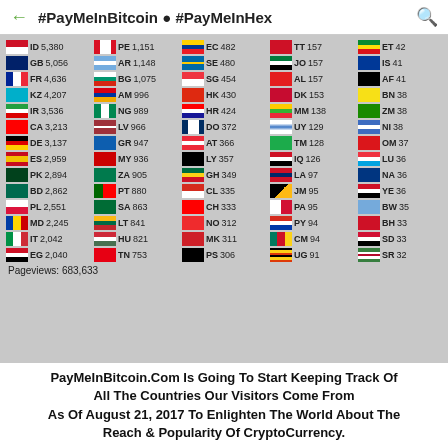#PayMeInBitcoin ● #PayMeInHex
| Flag | CC | Count |
| --- | --- | --- |
| ID | 5,380 |
| GB | 5,056 |
| FR | 4,636 |
| KZ | 4,207 |
| IR | 3,536 |
| CA | 3,213 |
| DE | 3,137 |
| ES | 2,959 |
| PK | 2,894 |
| BD | 2,862 |
| PL | 2,551 |
| MD | 2,245 |
| IT | 2,042 |
| EG | 2,040 |
| PE | 1,151 |
| AR | 1,148 |
| BG | 1,075 |
| AM | 996 |
| NG | 989 |
| LV | 966 |
| GR | 947 |
| MY | 936 |
| ZA | 905 |
| PT | 880 |
| SA | 863 |
| LT | 841 |
| HU | 821 |
| TN | 753 |
| EC | 482 |
| SE | 480 |
| SG | 454 |
| HK | 430 |
| HR | 424 |
| DO | 372 |
| AT | 366 |
| LY | 357 |
| GH | 349 |
| CL | 335 |
| CH | 333 |
| NO | 312 |
| MK | 311 |
| PS | 306 |
| TT | 157 |
| JO | 157 |
| AL | 157 |
| DK | 153 |
| MM | 138 |
| UY | 129 |
| TM | 128 |
| IQ | 126 |
| LA | 97 |
| JM | 95 |
| PA | 95 |
| PY | 94 |
| CM | 94 |
| UG | 91 |
| ET | 42 |
| IS | 41 |
| AF | 41 |
| BN | 38 |
| ZM | 38 |
| NI | 38 |
| OM | 37 |
| LU | 36 |
| NA | 36 |
| YE | 36 |
| BW | 35 |
| BH | 33 |
| SD | 33 |
| SR | 32 |
Pageviews: 683,633
PayMeInBitcoin.Com Is Going To Start Keeping Track Of All The Countries Our Visitors Come From As Of August 21, 2017 To Enlighten The World About The Reach & Popularity Of CryptoCurrency.